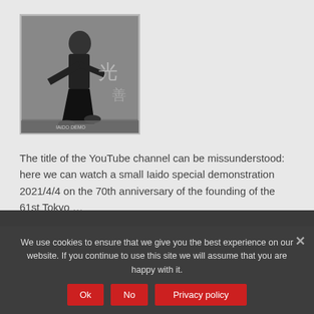[Figure (photo): Black and white photograph of a person in traditional Japanese martial arts attire performing Iaido, with Japanese characters visible in the background.]
The title of the YouTube channel can be missunderstood: here we can watch a small Iaido special demonstration 2021/4/4 on the 70th anniversary of the founding of the 61st Tokyo ...
weiter »
We use cookies to ensure that we give you the best experience on our website. If you continue to use this site we will assume that you are happy with it.
Ok
No
Privacy policy
Zen Nihon Kendo – Teaching Movie